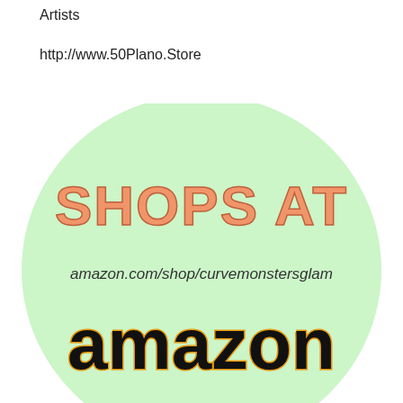Artists
http://www.50Plano.Store
[Figure (illustration): A large light green circle containing the text 'SHOPS AT' in salmon/orange stylized font at the top, 'amazon.com/shop/curvemonstersglam' in dark italic text in the middle, and 'amazon' in large bold black text with orange/gold outline at the bottom.]